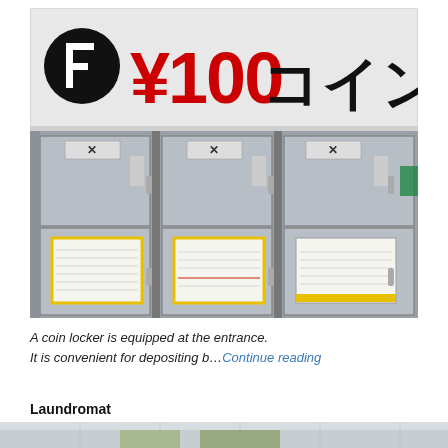[Figure (photo): Photograph of a Japanese coin locker machine with a sign showing ¥100 coin lockers (¥100コインロッカー) with a brand logo. Three large locker compartments visible below with X marks and posted notices.]
A coin locker is equipped at the entrance.
It is convenient for depositing b…Continue reading
Laundromat
[Figure (photo): Partial photograph of what appears to be a laundromat interior.]